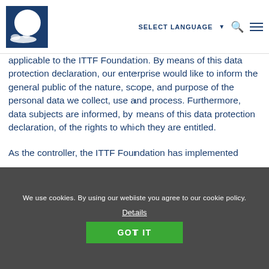[Figure (logo): ITTF Foundation logo - dark blue square with white circle and hand/bird motif]
SELECT LANGUAGE
applicable to the ITTF Foundation. By means of this data protection declaration, our enterprise would like to inform the general public of the nature, scope, and purpose of the personal data we collect, use and process. Furthermore, data subjects are informed, by means of this data protection declaration, of the rights to which they are entitled.

As the controller, the ITTF Foundation has implemented
We use cookies. By using our webiste you agree to our cookie policy. Details GOT IT